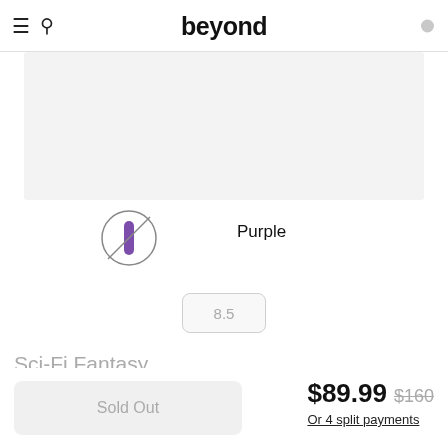beyond
[Figure (photo): Product image area, light gray background placeholder]
[Figure (illustration): Purple color swatch circle with diagonal line through it, selected state]
Purple
8.5
Sci-Fi Fantasy
Sold Out
$89.99  $160
Or 4 split payments